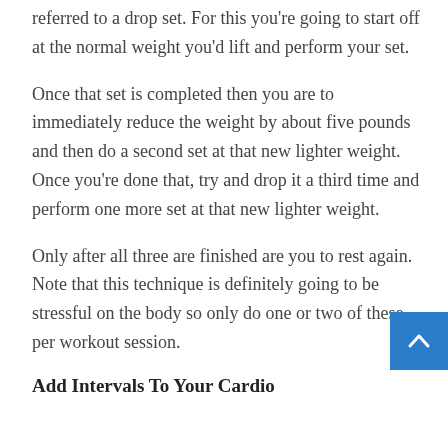referred to a drop set. For this you're going to start off at the normal weight you'd lift and perform your set.
Once that set is completed then you are to immediately reduce the weight by about five pounds and then do a second set at that new lighter weight. Once you're done that, try and drop it a third time and perform one more set at that new lighter weight.
Only after all three are finished are you to rest again. Note that this technique is definitely going to be stressful on the body so only do one or two of these per workout session.
Add Intervals To Your Cardio